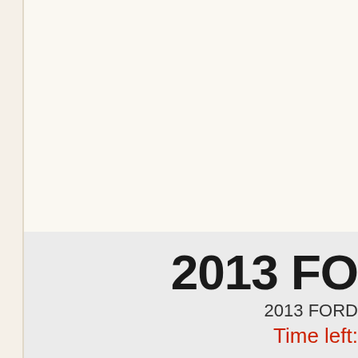2013 FO
2013 FORD
Time left:
[Figure (photo): Photo showing silver/white cars in what appears to be a dealership or auction lot. Left portion is a gray placeholder area. Right portion shows a silver SUV (likely a Ford Escape or similar) and in the lower right a white sedan, both photographed indoors.]